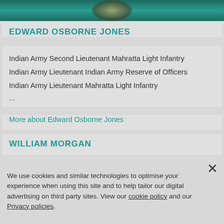[Figure (photo): Partial photo of a person or object against a teal/green background, cropped at the top of the page]
EDWARD OSBORNE JONES
Indian Army Second Lieutenant Mahratta Light Infantry
Indian Army Lieutenant Indian Army Reserve of Officers
Indian Army Lieutenant Mahratta Light Infantry
...
More about Edward Osborne Jones
WILLIAM MORGAN
We use cookies and similar technologies to optimise your experience when using this site and to help tailor our digital advertising on third party sites. View our cookie policy and our Privacy policies.